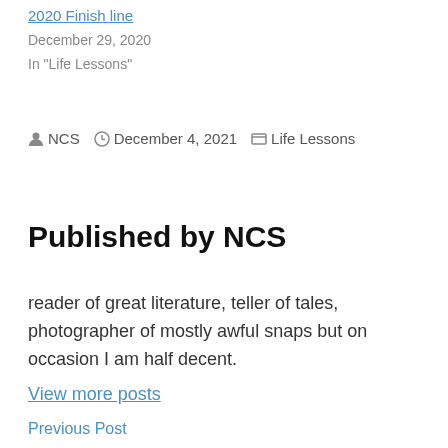2020 Finish line
December 29, 2020
In "Life Lessons"
By NCS  December 4, 2021  Life Lessons
Published by NCS
reader of great literature, teller of tales, photographer of mostly awful snaps but on occasion I am half decent.
View more posts
Previous Post